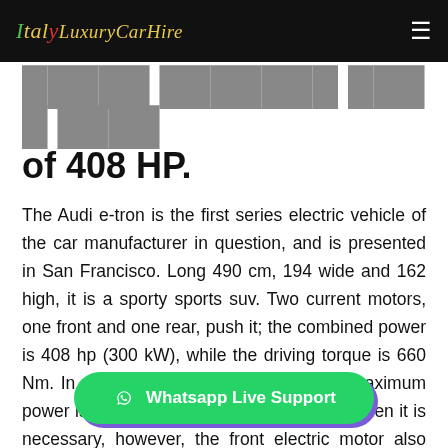Italy Luxury Car Hire
of 408 HP.
The Audi e-tron is the first series electric vehicle of the car manufacturer in question, and is presented in San Francisco. Long 490 cm, 194 wide and 162 high, it is a sporty sports suv. Two current motors, one front and one rear, push it; the combined power is 408 hp (300 kW), while the driving torque is 660 Nm. In normal grip conditions, and if the maximum power is not required, the traction is rear. When it is necessary, however, the front electric motor also starts working (the driving force is distributed through an electronic control unit on the two axes), maki... the Audi speak of a one shot from 0 to 100 km / h in